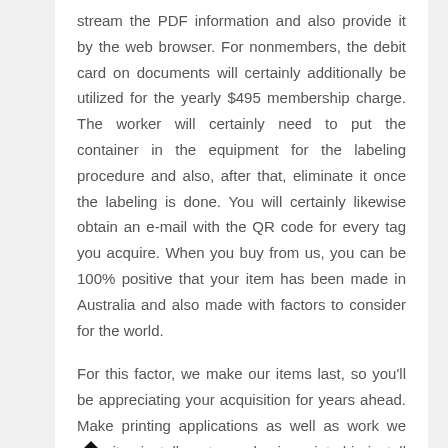stream the PDF information and also provide it by the web browser. For nonmembers, the debit card on documents will certainly additionally be utilized for the yearly $495 membership charge. The worker will certainly need to put the container in the equipment for the labeling procedure and also, after that, eliminate it once the labeling is done. You will certainly likewise obtain an e-mail with the QR code for every tag you acquire. When you buy from us, you can be 100% positive that your item has been made in Australia and also made with factors to consider for the world.

For this factor, we make our items last, so you'll be appreciating your acquisition for years ahead. Make printing applications as well as work website installments a basic print-ship-install procedure with Korographics. Korographics Digital Wallcoverings is a